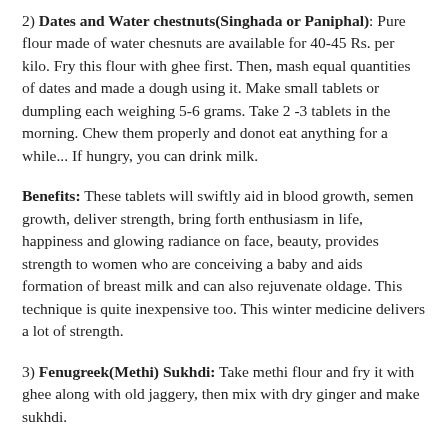2) Dates and Water chestnuts(Singhada or Paniphal): Pure flour made of water chesnuts are available for 40-45 Rs. per kilo. Fry this flour with ghee first. Then, mash equal quantities of dates and made a dough using it. Make small tablets or dumpling each weighing 5-6 grams. Take 2 -3 tablets in the morning. Chew them properly and donot eat anything for a while... If hungry, you can drink milk.
Benefits: These tablets will swiftly aid in blood growth, semen growth, deliver strength, bring forth enthusiasm in life, happiness and glowing radiance on face, beauty, provides strength to women who are conceiving a baby and aids formation of breast milk and can also rejuvenate oldage. This technique is quite inexpensive too. This winter medicine delivers a lot of strength.
3) Fenugreek(Methi) Sukhdi: Take methi flour and fry it with ghee along with old jaggery, then mix with dry ginger and make sukhdi.
Benefits: Taking this helps remove back ache in women, joint pain in men-women, sciatica, weakness in bones.